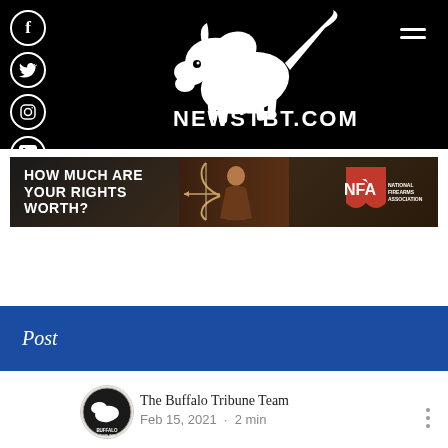[Figure (logo): NewsTBT.com website header with black background, buffalo/bison logo, NEWSTBT.COM text, social media icons (Facebook, Twitter, Instagram, LinkedIn), and hamburger menu icon]
[Figure (illustration): NFA (National Firearms Association) banner advertisement with text 'HOW MUCH ARE YOUR RIGHTS WORTH?' with a person holding a bow and NFA logo]
Post
[Figure (logo): The Buffalo Tribune Team circular logo avatar]
The Buffalo Tribune Team
Feb 15, 2021  •  2 min